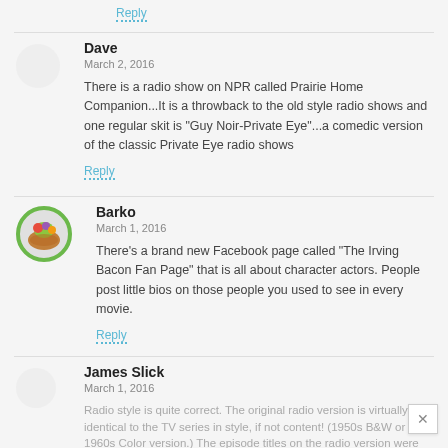Reply
Dave
March 2, 2016
There is a radio show on NPR called Prairie Home Companion...It is a throwback to the old style radio shows and one regular skit is "Guy Noir-Private Eye"...a comedic version of the classic Private Eye radio shows
Reply
Barko
March 1, 2016
There's a brand new Facebook page called "The Irving Bacon Fan Page" that is all about character actors. People post little bios on those people you used to see in every movie.
Reply
James Slick
March 1, 2016
Radio style is quite correct. The original radio version is virtually identical to the TV series in style, if not content! (1950s B&W or 1960s Color version.) The episode titles on the radio version were also "The Big ____________." And the